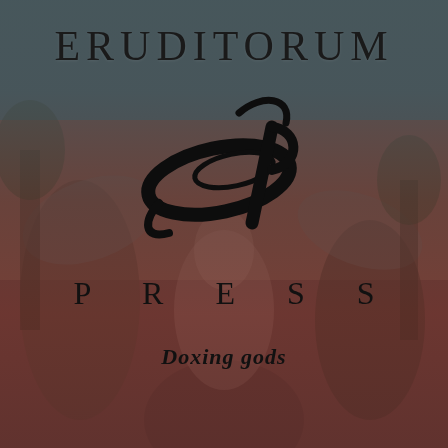[Figure (logo): Eruditorum Press logo cover page. Dark teal-to-burgundy gradient background overlaid on a classical figurative artwork (angels/figures in a forest scene). Black serif text 'ERUDITORUM' at top, a stylized 'EP' calligraphic monogram logo in the center, 'PRESS' in spaced serif letters below, and italic bold tagline 'Doxing gods' near the bottom.]